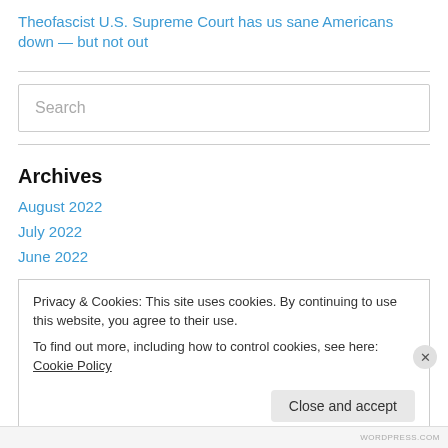Theofascist U.S. Supreme Court has us sane Americans down — but not out
Archives
August 2022
July 2022
June 2022
Privacy & Cookies: This site uses cookies. By continuing to use this website, you agree to their use. To find out more, including how to control cookies, see here: Cookie Policy
Close and accept